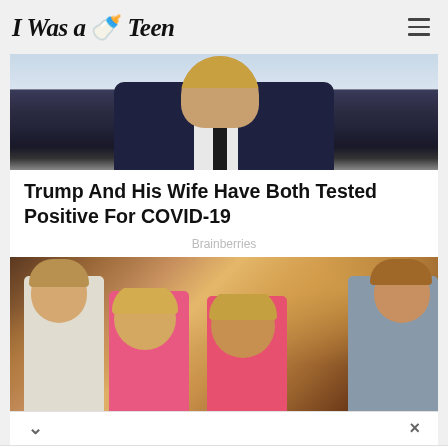I Was a 🍼 Teen
[Figure (photo): Cropped photo showing a person in a dark suit with white shirt and dark tie, head partially visible, against a light background]
Trump And His Wife Have Both Tested Positive For COVID-19
Brainberries
[Figure (photo): Group photo of four young adults smiling — two men and two women with blonde hair, in casual summer attire, taken indoors]
View store hours, get directions, or call your salon!